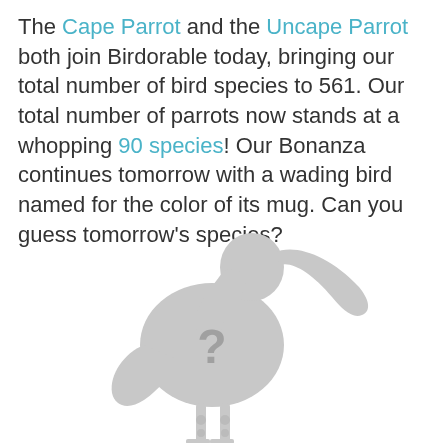The Cape Parrot and the Uncape Parrot both join Birdorable today, bringing our total number of bird species to 561. Our total number of parrots now stands at a whopping 90 species! Our Bonanza continues tomorrow with a wading bird named for the color of its mug. Can you guess tomorrow's species?
[Figure (illustration): A grey silhouette of a wading bird (ibis-like) with a long curved beak and a question mark on its body, suggesting a mystery bird species.]